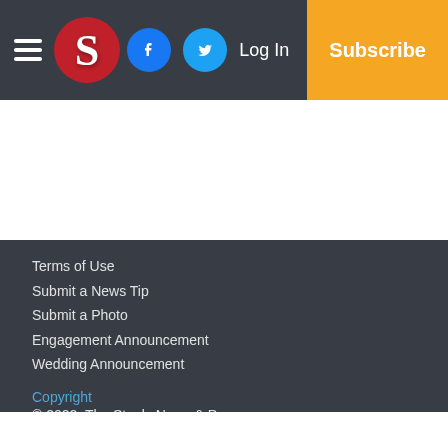S [logo] | Facebook | Twitter | Log In | Subscribe
Terms of Use
Submit a News Tip
Submit a Photo
Engagement Announcement
Wedding Announcement
Copyright
© 2022, The Stanly News & Press